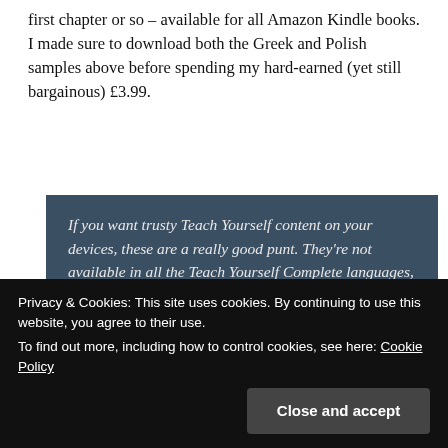first chapter or so – available for all Amazon Kindle books. I made sure to download both the Greek and Polish samples above before spending my hard-earned (yet still bargainous) £3.99.
If you want trusty Teach Yourself content on your devices, these are a really good punt. They're not available in all the Teach Yourself Complete languages, but most of the major learning languages are available (French, German, Italian, Spanish and Japanese, for starters).
Privacy & Cookies: This site uses cookies. By continuing to use this website, you agree to their use.
To find out more, including how to control cookies, see here: Cookie Policy